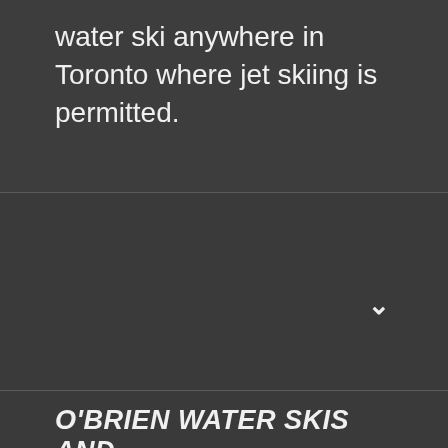water ski anywhere in Toronto where jet skiing is permitted.
START YOUR WEEKEND
v
EARLY:
O'BRIEN WATER SKIS AND